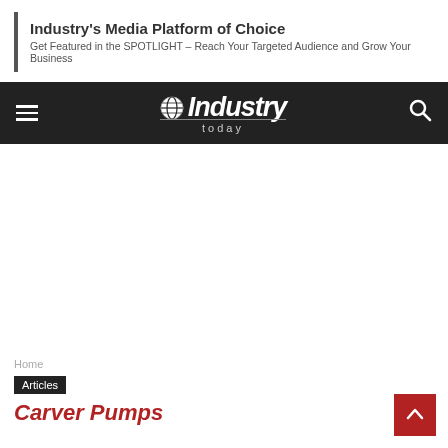Industry's Media Platform of Choice
Get Featured in the SPOTLIGHT – Reach Your Targeted Audience and Grow Your Business
[Figure (logo): Industry Today logo with globe icon and hamburger menu and search icon on dark navigation bar]
Home
Articles
Carver Pumps